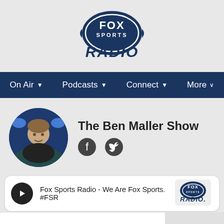[Figure (logo): Fox Sports Radio logo with oval emblem and bold RADIO text]
On Air  Podcasts  Connect  More
[Figure (photo): Circular headshot photo of Ben Maller, smiling man in dark clothing with stadium lights background]
The Ben Maller Show
[Figure (other): Facebook and Twitter social media icons]
Fox Sports Radio - We Are Fox Sports. #FSR
[Figure (logo): Fox Sports Radio small logo on player bar right side]